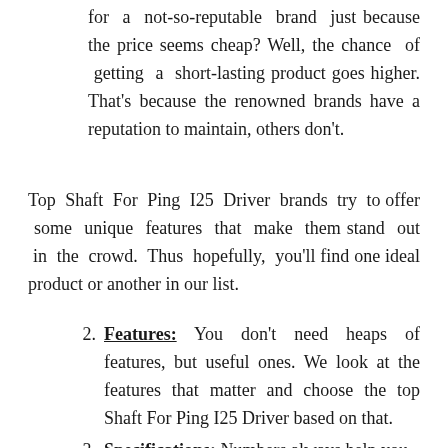for a not-so-reputable brand just because the price seems cheap? Well, the chance of getting a short-lasting product goes higher. That's because the renowned brands have a reputation to maintain, others don't.
Top Shaft For Ping I25 Driver brands try to offer some unique features that make them stand out in the crowd. Thus hopefully, you'll find one ideal product or another in our list.
Features: You don't need heaps of features, but useful ones. We look at the features that matter and choose the top Shaft For Ping I25 Driver based on that.
Specifications: Numbers always help you